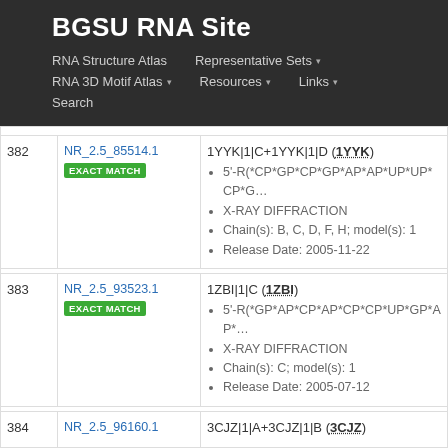BGSU RNA Site
RNA Structure Atlas | Representative Sets ▾ | RNA 3D Motif Atlas ▾ | Resources ▾ | Links ▾ | Search
| # | ID | Details |
| --- | --- | --- |
| 382 | NR_2.5_85514.1
EXACT MATCH | 1YYK|1|C+1YYK|1|D (1YYK)
• 5'-R(*CP*GP*CP*GP*AP*AP*UP*UP*CP*G…
• X-RAY DIFFRACTION
• Chain(s): B, C, D, F, H; model(s): 1
• Release Date: 2005-11-22 |
| 383 | NR_2.5_93523.1
EXACT MATCH | 1ZBI|1|C (1ZBI)
• 5'-R(*GP*AP*CP*AP*CP*CP*UP*GP*AP*…
• X-RAY DIFFRACTION
• Chain(s): C; model(s): 1
• Release Date: 2005-07-12 |
| 384 | NR_2.5_96160.1 | 3CJZ|1|A+3CJZ|1|B (3CJZ) |